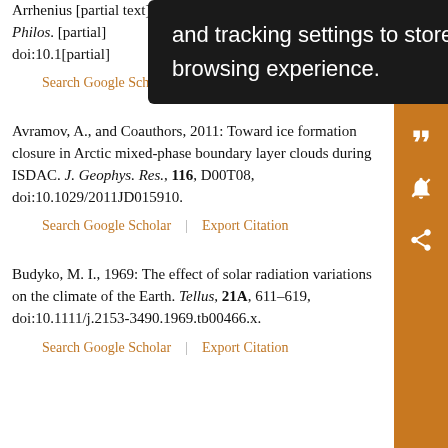Arrhenius [partial] acid in [...] d. Philos. doi:10.1[...]
Search Google Scholar | Export Citation
Avramov, A., and Coauthors, 2011: Toward ice formation closure in Arctic mixed-phase boundary layer clouds during ISDAC. J. Geophys. Res., 116, D00T08, doi:10.1029/2011JD015910.
Search Google Scholar | Export Citation
Budyko, M. I., 1969: The effect of solar radiation variations on the climate of the Earth. Tellus, 21A, 611–619, doi:10.1111/j.2153-3490.1969.tb00466.x.
Search Google Scholar | Export Citation